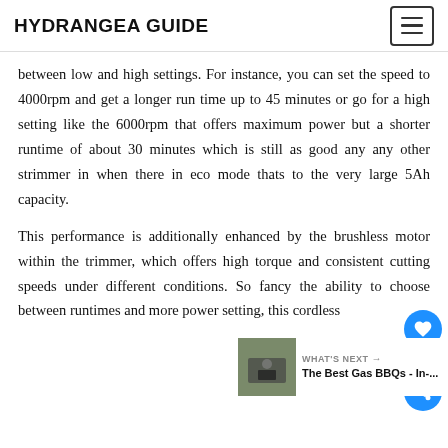HYDRANGEA GUIDE
between low and high settings. For instance, you can set the speed to 4000rpm and get a longer run time up to 45 minutes or go for a high setting like the 6000rpm that offers maximum power but a shorter runtime of about 30 minutes which is still as good any any other strimmer in when there in eco mode thats to the very large 5Ah capacity.
This performance is additionally enhanced by the brushless motor within the trimmer, which offers high torque and consistent cutting speeds under different conditions. So fancy the ability to choose between runtimes and more power setting, this cordless